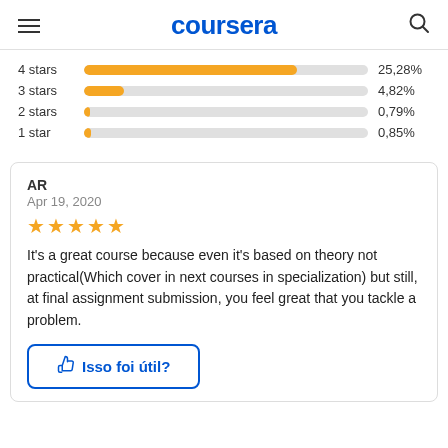coursera
[Figure (bar-chart): Star ratings distribution]
AR
Apr 19, 2020
It's a great course because even it's based on theory not practical(Which cover in next courses in specialization) but still, at final assignment submission, you feel great that you tackle a problem.
Isso foi útil?